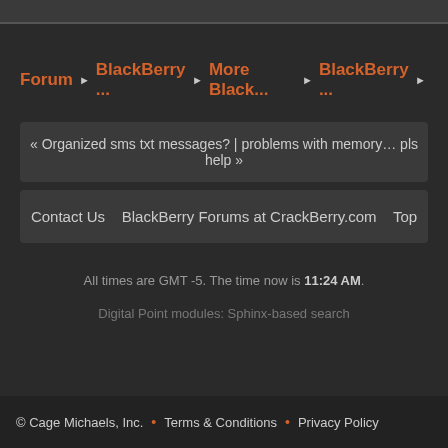Forum › BlackBerry … › More Black… › BlackBerry … ›
« Organized sms txt messages? | problems with memory… pls help »
Contact Us   BlackBerry Forums at CrackBerry.com   Top
All times are GMT -5. The time now is 11:24 AM.
Digital Point modules: Sphinx-based search
© Cage Michaels, Inc.  •  Terms & Conditions  •  Privacy Policy